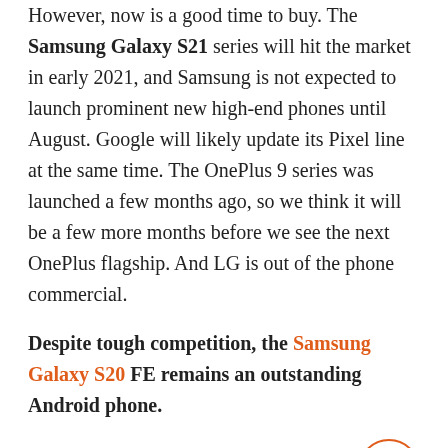However, now is a good time to buy. The Samsung Galaxy S21 series will hit the market in early 2021, and Samsung is not expected to launch prominent new high-end phones until August. Google will likely update its Pixel line at the same time. The OnePlus 9 series was launched a few months ago, so we think it will be a few more months before we see the next OnePlus flagship. And LG is out of the phone commercial.
Despite tough competition, the Samsung Galaxy S20 FE remains an outstanding Android phone.
5G Android phones
Virtually every high-end phone you buy now